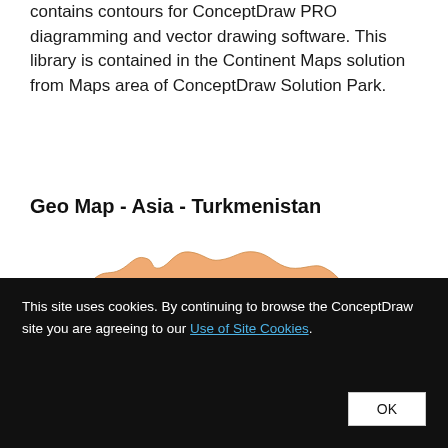contains contours for ConceptDraw PRO diagramming and vector drawing software. This library is contained in the Continent Maps solution from Maps area of ConceptDraw Solution Park.
Geo Map - Asia - Turkmenistan
[Figure (map): Orange/tan filled silhouette map of Turkmenistan against a white background]
This site uses cookies. By continuing to browse the ConceptDraw site you are agreeing to our Use of Site Cookies.